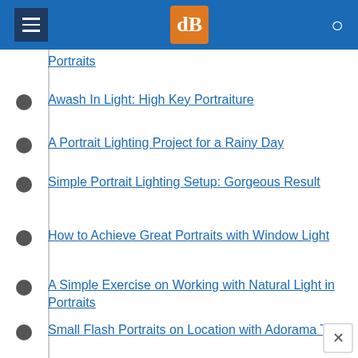dPS digital photography school
Portraits
Awash In Light: High Key Portraiture
A Portrait Lighting Project for a Rainy Day
Simple Portrait Lighting Setup: Gorgeous Result
How to Achieve Great Portraits with Window Light
A Simple Exercise on Working with Natural Light in Portraits
Small Flash Portraits on Location with Adorama TV
Portraits on an Overcast Day? Use a Reflector